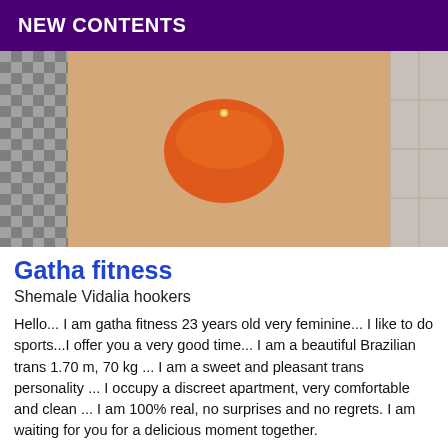NEW CONTENTS
[Figure (photo): Photo of a person in an orange bikini bottom standing in a tiled bathroom/shower area]
Gatha fitness
Shemale Vidalia hookers
Hello... I am gatha fitness 23 years old very feminine... I like to do sports...I offer you a very good time... I am a beautiful Brazilian trans 1.70 m, 70 kg ... I am a sweet and pleasant trans personality ... I occupy a discreet apartment, very comfortable and clean ... I am 100% real, no surprises and no regrets. I am waiting for you for a delicious moment together.